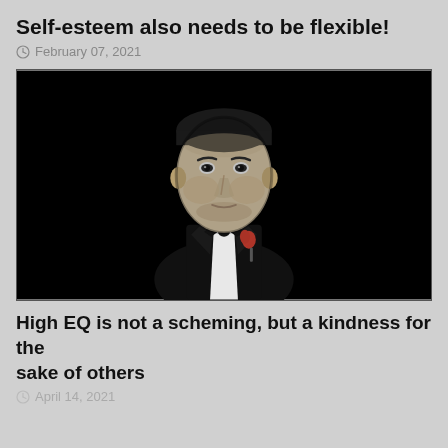Self-esteem also needs to be flexible!
February 07, 2021
[Figure (illustration): High-contrast black and white illustration of a man in a dark suit with a red rose in his lapel pocket, reminiscent of The Godfather movie poster, against a solid black background.]
High EQ is not a scheming, but a kindness for the sake of others
April 14, 2021